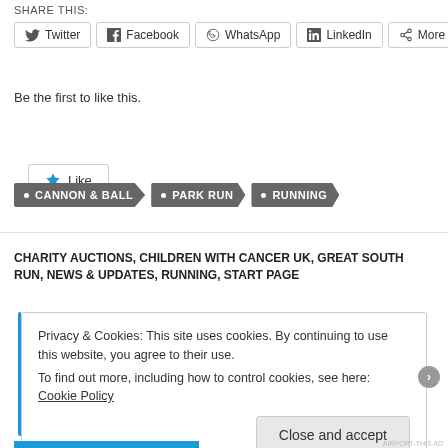SHARE THIS:
Twitter  Facebook  WhatsApp  LinkedIn  More
Like
Be the first to like this.
CANNON & BALL
PARK RUN
RUNNING
CHARITY AUCTIONS, CHILDREN WITH CANCER UK, GREAT SOUTH RUN, NEWS & UPDATES, RUNNING, START PAGE
Privacy & Cookies: This site uses cookies. By continuing to use this website, you agree to their use.
To find out more, including how to control cookies, see here: Cookie Policy
Close and accept